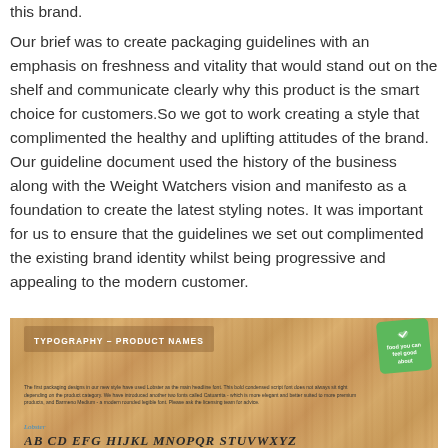this brand.

Our brief was to create packaging guidelines with an emphasis on freshness and vitality that would stand out on the shelf and communicate clearly why this product is the smart choice for customers.So we got to work creating a style that complimented the healthy and uplifting attitudes of the brand. Our guideline document used the history of the business along with the Weight Watchers vision and manifesto as a foundation to create the latest styling notes. It was important for us to ensure that the guidelines we set out complimented the existing brand identity whilst being progressive and appealing to the modern customer.
[Figure (illustration): Typography - Product Names section with wood-grain background, green badge reading 'food you can feel good about', small body text about Lobster, Catuarrita and Barmeno Medium fonts, and a large italic alphabet display in Lobster font style.]